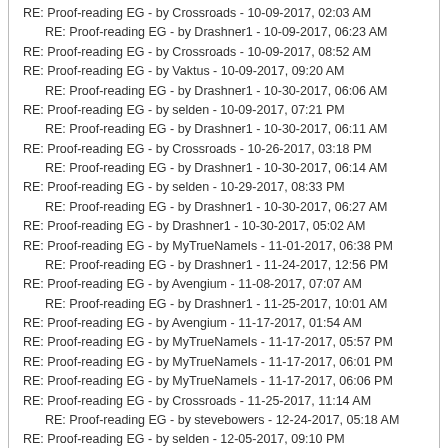RE: Proof-reading EG - by Crossroads - 10-09-2017, 02:03 AM
RE: Proof-reading EG - by Drashner1 - 10-09-2017, 06:23 AM
RE: Proof-reading EG - by Crossroads - 10-09-2017, 08:52 AM
RE: Proof-reading EG - by Vaktus - 10-09-2017, 09:20 AM
RE: Proof-reading EG - by Drashner1 - 10-30-2017, 06:06 AM
RE: Proof-reading EG - by selden - 10-09-2017, 07:21 PM
RE: Proof-reading EG - by Drashner1 - 10-30-2017, 06:11 AM
RE: Proof-reading EG - by Crossroads - 10-26-2017, 03:18 PM
RE: Proof-reading EG - by Drashner1 - 10-30-2017, 06:14 AM
RE: Proof-reading EG - by selden - 10-29-2017, 08:33 PM
RE: Proof-reading EG - by Drashner1 - 10-30-2017, 06:27 AM
RE: Proof-reading EG - by Drashner1 - 10-30-2017, 05:02 AM
RE: Proof-reading EG - by MyTrueNameIs - 11-01-2017, 06:38 PM
RE: Proof-reading EG - by Drashner1 - 11-24-2017, 12:56 PM
RE: Proof-reading EG - by Avengium - 11-08-2017, 07:07 AM
RE: Proof-reading EG - by Drashner1 - 11-25-2017, 10:01 AM
RE: Proof-reading EG - by Avengium - 11-17-2017, 01:54 AM
RE: Proof-reading EG - by MyTrueNameIs - 11-17-2017, 05:57 PM
RE: Proof-reading EG - by MyTrueNameIs - 11-17-2017, 06:01 PM
RE: Proof-reading EG - by MyTrueNameIs - 11-17-2017, 06:06 PM
RE: Proof-reading EG - by Crossroads - 11-25-2017, 11:14 AM
RE: Proof-reading EG - by stevebowers - 12-24-2017, 05:18 AM
RE: Proof-reading EG - by selden - 12-05-2017, 09:10 PM
RE: Proof-reading EG - by stevebowers - 12-24-2017, 06:48 AM
RE: Proof-reading EG - by selden - 12-08-2017, 08:46 PM